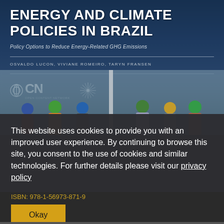[Figure (photo): Book cover for 'Energy and Climate Policies in Brazil: Policy Options to Reduce Energy-Related GHG Emissions' by Osvaldo Lucon, Viviane Romeiro, Taryn Fransen, with OCN and partner organization logos. Background shows wind turbines and workers in hard hats.]
This website uses cookies to provide you with an improved user experience. By continuing to browse this site, you consent to the use of cookies and similar technologies. For further details please visit our privacy policy
ISBN: 978-1-56973-871-9
Okay